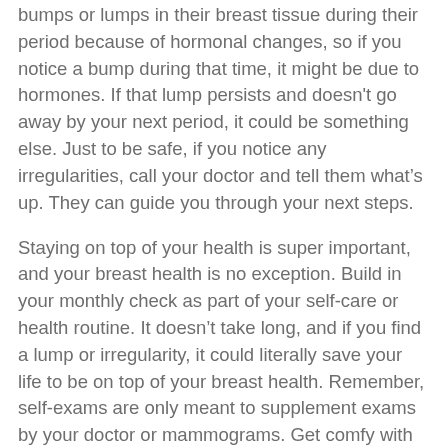bumps or lumps in their breast tissue during their period because of hormonal changes, so if you notice a bump during that time, it might be due to hormones. If that lump persists and doesn't go away by your next period, it could be something else. Just to be safe, if you notice any irregularities, call your doctor and tell them what's up. They can guide you through your next steps.
Staying on top of your health is super important, and your breast health is no exception. Build in your monthly check as part of your self-care or health routine. It doesn't take long, and if you find a lump or irregularity, it could literally save your life to be on top of your breast health. Remember, self-exams are only meant to supplement exams by your doctor or mammograms. Get comfy with yourself and stay on top of your breast health.
Illustrations depicting a breast self-exam can be found at nationalbreastcancer.org and breastcancer.org.